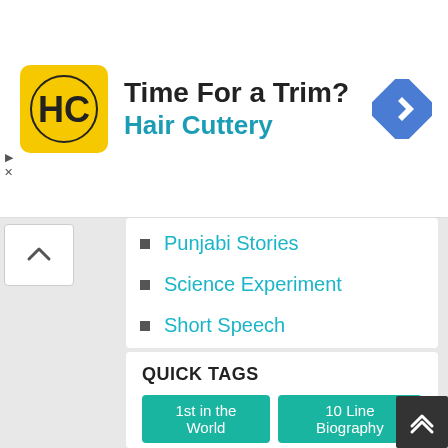[Figure (other): Hair Cuttery advertisement banner with logo, text 'Time For a Trim?' and 'Hair Cuttery', and navigation icon]
Punjabi Stories
Science Experiment
Short Speech
Slogan Writing
Uncategorized
ਦਾ ਪੰਜਾਬੀ ਵਿਆਕਰਣ
ਕਹਾਣੀ
QUICK TAGS
1st in the World
10 Line Biography